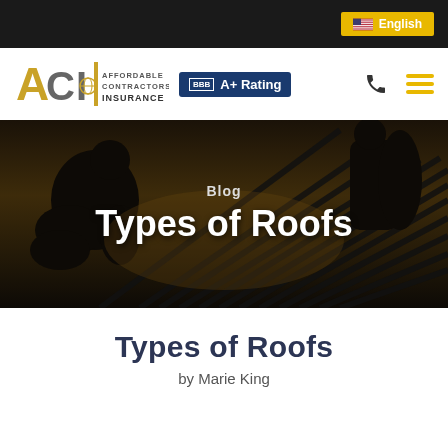English
[Figure (logo): ACI Affordable Contractors Insurance logo with BBB A+ Rating badge, phone icon, and hamburger menu]
[Figure (photo): Silhouette of roofer workers working on a roof structure against a dark sepia-toned sky]
Blog
Types of Roofs
Types of Roofs
by Marie King